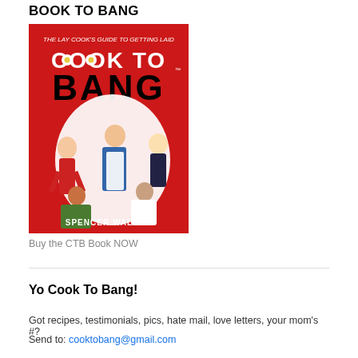BOOK TO BANG
[Figure (illustration): Book cover for 'Cook To Bang: The Lay Cook's Guide to Getting Laid' by Spencer Walker. Red background with illustrated man in apron surrounded by four women.]
Buy the CTB Book NOW
Yo Cook To Bang!
Got recipes, testimonials, pics, hate mail, love letters, your mom's #?
Send to: cooktobang@gmail.com